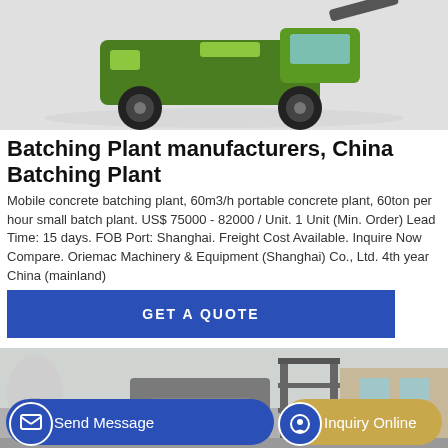[Figure (photo): Green construction machine / mobile concrete batching plant vehicle on white/grey background]
Batching Plant manufacturers, China Batching Plant
Mobile concrete batching plant, 60m3/h portable concrete plant, 60ton per hour small batch plant. US$ 75000 - 82000 / Unit. 1 Unit (Min. Order) Lead Time: 15 days. FOB Port: Shanghai. Freight Cost Available. Inquire Now Compare. Oriemac Machinery & Equipment (Shanghai) Co., Ltd. 4th year China (mainland)
GET A QUOTE
[Figure (photo): Outdoor industrial batching plant equipment with structure and building in background]
Send Message
Inquiry Online